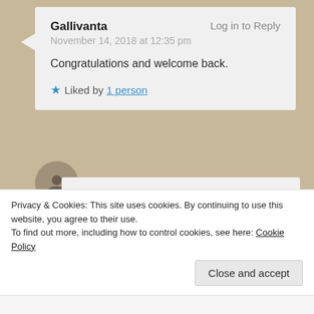Gallivanta — Log in to Reply
November 14, 2018 at 12:35 pm
Congratulations and welcome back.
★ Liked by 1 person
Neha Sharma — Log in to Reply
November 14, 2018 at 5:48 pm
Thank you 🙂
Privacy & Cookies: This site uses cookies. By continuing to use this website, you agree to their use.
To find out more, including how to control cookies, see here: Cookie Policy
Close and accept